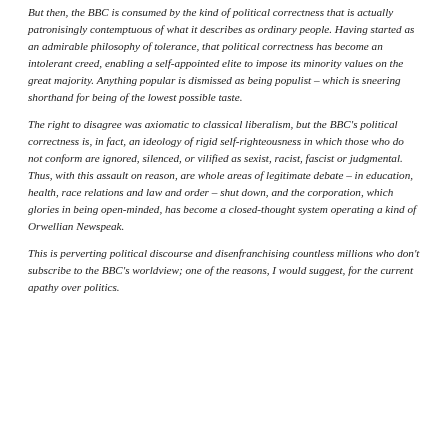But then, the BBC is consumed by the kind of political correctness that is actually patronisingly contemptuous of what it describes as ordinary people. Having started as an admirable philosophy of tolerance, that political correctness has become an intolerant creed, enabling a self-appointed elite to impose its minority values on the great majority. Anything popular is dismissed as being populist – which is sneering shorthand for being of the lowest possible taste.
The right to disagree was axiomatic to classical liberalism, but the BBC's political correctness is, in fact, an ideology of rigid self-righteousness in which those who do not conform are ignored, silenced, or vilified as sexist, racist, fascist or judgmental. Thus, with this assault on reason, are whole areas of legitimate debate – in education, health, race relations and law and order – shut down, and the corporation, which glories in being open-minded, has become a closed-thought system operating a kind of Orwellian Newspeak.
This is perverting political discourse and disenfranchising countless millions who don't subscribe to the BBC's worldview; one of the reasons, I would suggest, for the current apathy over politics.